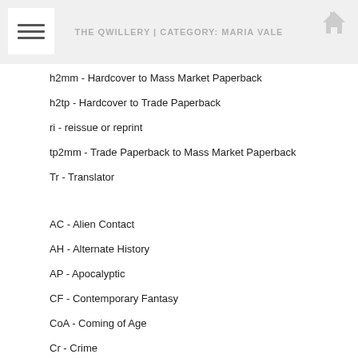THE QWILLERY | CATEGORY: MARIA VALE
h2mm - Hardcover to Mass Market Paperback
h2tp - Hardcover to Trade Paperback
ri - reissue or reprint
tp2mm - Trade Paperback to Mass Market Paperback
Tr - Translator
AC - Alien Contact
AH - Alternate History
AP - Apocalyptic
CF - Contemporary Fantasy
CoA - Coming of Age
Cr - Crime
CW - Contemporary Woman
CyP - Cyberpunk
DF - Dark Fantasy